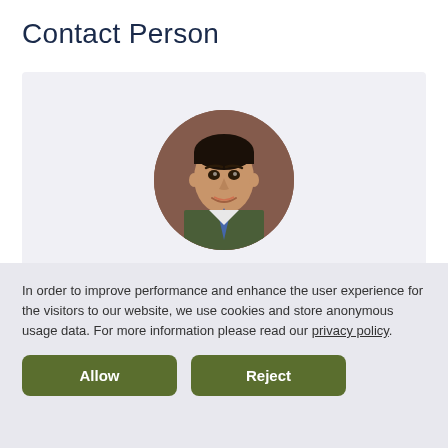Contact Person
[Figure (photo): Circular portrait photo of Hamed Davari, a man in a suit and tie, against a wooden background]
Hamed Davari
In order to improve performance and enhance the user experience for the visitors to our website, we use cookies and store anonymous usage data. For more information please read our privacy policy.
Allow
Reject